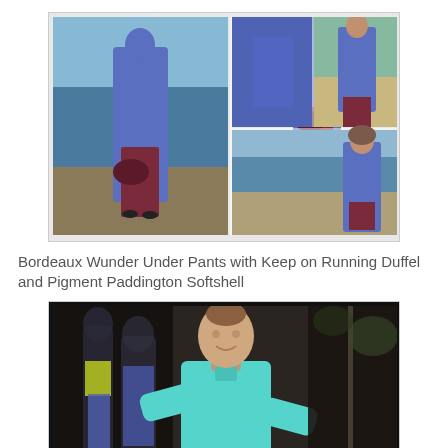[Figure (photo): Collage of four photos showing a woman in a blue Paddington Softshell jacket with Bordeaux Wunder Under Pants and a dark red duffel bag, taken near a lakeside/park setting. Four views: full body front-left, full body straight, close-up jacket back, and side/back view.]
Bordeaux Wunder Under Pants with Keep on Running Duffel and Pigment Paddington Softshell
[Figure (photo): Woman in a teal/turquoise long-sleeve athletic top posing with hands on hips in front of a dark background with mannequins in athletic wear.]